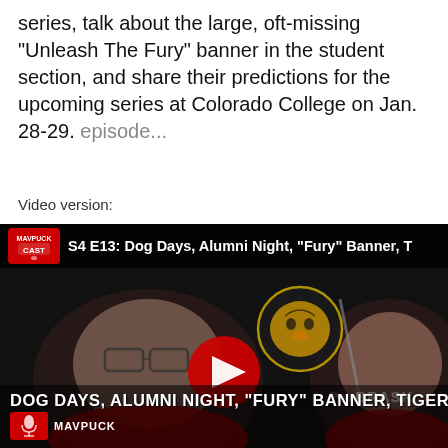series, talk about the large, oft-missing "Unleash The Fury" banner in the student section, and share their predictions for the upcoming series at Colorado College on Jan. 28-29. episode...
Video version:
[Figure (screenshot): YouTube video thumbnail for MavPuck Cast S4 E13: Dog Days, Alumni Night, 'Fury' Banner. Shows two people in hockey jerseys, a tiger logo, YouTube play button, with text overlay 'DOG DAYS, ALUMNI NIGHT, "FURY" BANNER, TIGER' and MavPuck Cast logo at bottom left.]